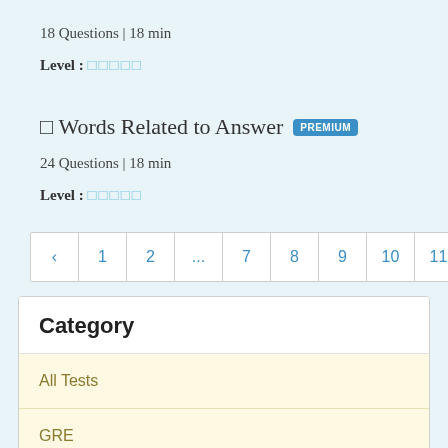18 Questions | 18 min
Level : □□□□□
□ Words Related to Answer PREMIUM
24 Questions | 18 min
Level : □□□□□
‹ 1 2 ... 7 8 9 10 11 12 13 14
| Category |
| --- |
| All Tests |
| GRE |